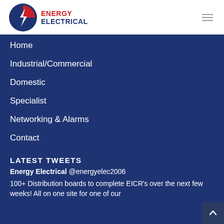[Figure (logo): Energy Electrical logo with circular red and blue icon and company name in bold text]
Home
Industrial/Commercial
Domestic
Specialist
Networking & Alarms
Contact
LATEST TWEETS
Energy Electrical @energyelec2006
100+ Distribution boards to complete EICR's over the next few weeks! All on one site for one of our